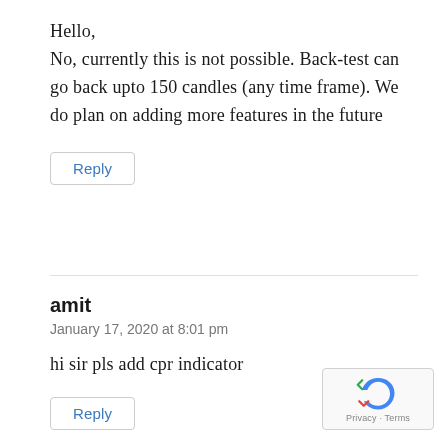Hello,
No, currently this is not possible. Back-test can go back upto 150 candles (any time frame). We do plan on adding more features in the future
Reply
amit
January 17, 2020 at 8:01 pm
hi sir pls add cpr indicator
Reply